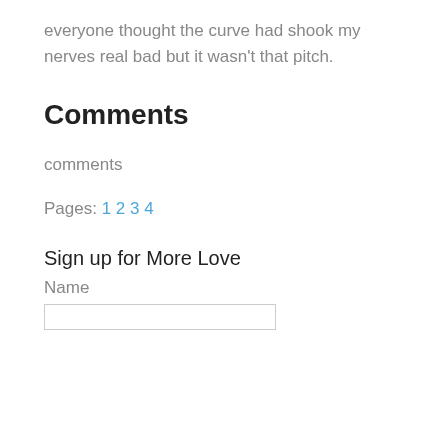everyone thought the curve had shook my nerves real bad but it wasn't that pitch.
Comments
comments
Pages: 1 2 3 4
Sign up for More Love
Name